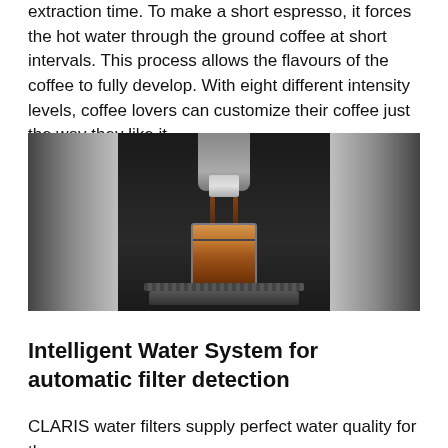extraction time. To make a short espresso, it forces the hot water through the ground coffee at short intervals. This process allows the flavours of the coffee to fully develop. With eight different intensity levels, coffee lovers can customize their coffee just the way they like it.
[Figure (photo): Espresso machine dispensing coffee into a glass cup, with silver and black body, chrome spout, coffee streams visible, drip tray at bottom.]
Intelligent Water System for automatic filter detection
CLARIS water filters supply perfect water quality for the